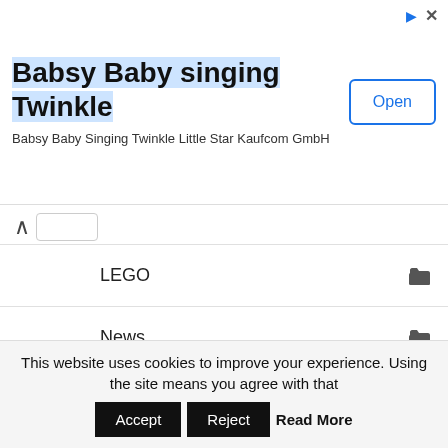[Figure (screenshot): Advertisement banner for 'Babsy Baby singing Twinkle' app by Kaufcom GmbH with an Open button]
LEGO
News
Parenting
Plush toys
Stuffed animals
Stuffed Classics
Stuffed toys
This website uses cookies to improve your experience. Using the site means you agree with that  Accept  Reject  Read More